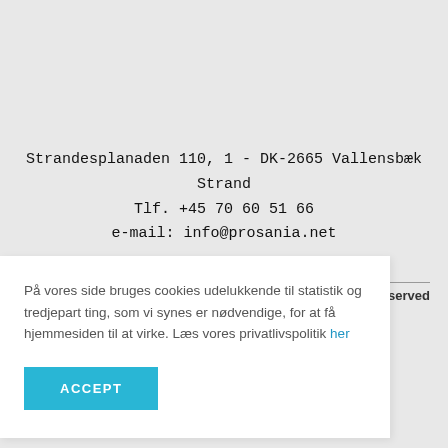Strandesplanaden 110, 1 - DK-2665 Vallensbæk Strand
Tlf. +45 70 60 51 66
e-mail: info@prosania.net
s reserved
På vores side bruges cookies udelukkende til statistik og tredjepart ting, som vi synes er nødvendige, for at få hjemmesiden til at virke. Læs vores privatlivspolitik her
ACCEPT